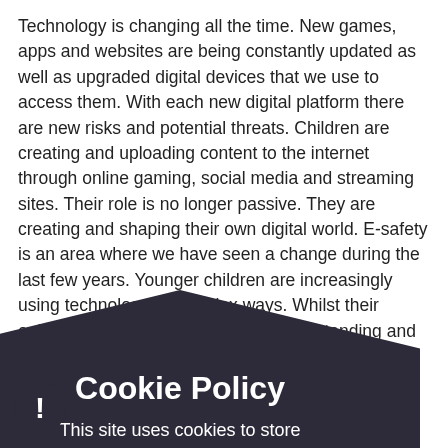Technology is changing all the time. New games, apps and websites are being constantly updated as well as upgraded digital devices that we use to access them. With each new digital platform there are new risks and potential threats. Children are creating and uploading content to the internet through online gaming, social media and streaming sites. Their role is no longer passive. They are creating and shaping their own digital world. E-safety is an area where we have seen a change during the last few years. Younger children are increasingly using technology in complex ways. Whilst their online skills are advancing, their understanding and awareness of the risks they face online remains low. It is our responsibility to help them navigate their digital world. We want to work together to ensure all young people safely enjoy the digital world in which they play. We acknowledge that whilst we want to keep ourselves safe children will always push boundaries and limits. Our job is to help them understand the risks with
[Figure (other): Cookie Policy overlay popup with dark background shaped like a pentagon/shield. Contains a close button (x), title 'Cookie Policy', text 'This site uses cookies to store information on your computer. Click here for more information', and two buttons: 'Allow Cookies' and 'Deny Cookies'.]